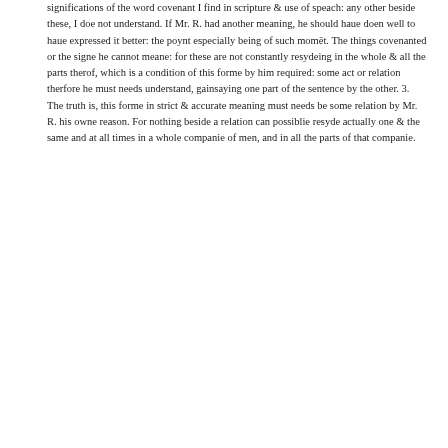significations of the word covenant I find in scripture & use of speach: any other beside these, I doe not understand. If Mr. R. had another meaning, he should haue doen well to haue expressed it better: the poynt especially being of such momēt. The things covenanted or the signe he cannot meane: for these are not constantly resydeing in the whole & all the parts therof, which is a condition of this forme by him required: some act or relation therfore he must needs understand, gainsaying one part of the sentence by the other. 3. The truth is, this forme in strict & accurate meaning must needs be some relation by Mr. R. his owne reason. For nothing beside a relation can possiblie resyde actually one & the same and at all times in a whole companie of men, and in all the parts of that companie.